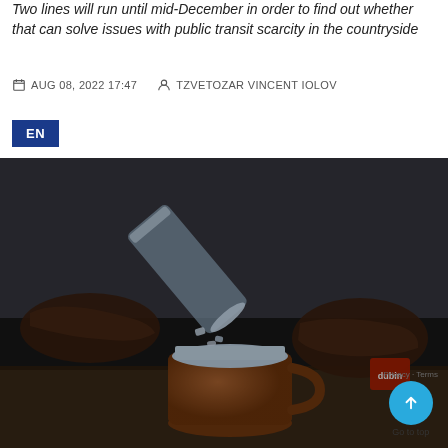Two lines will run until mid-December in order to find out whether that can solve issues with public transit scarcity in the countryside
AUG 08, 2022 17:47   TZVETOZAR VINCENT IOLOV
EN
[Figure (photo): A bartender pouring ice from a shaker into a copper Moscow Mule mug on a bar counter. The scene is dark and moody, with hands visible holding the shaker tilted over the mug filled with ice.]
Go to top